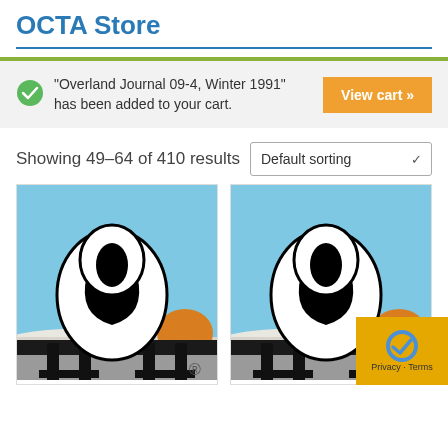OCTA Store
"Overland Journal 09-4, Winter 1991" has been added to your cart.
View cart »
Showing 49–64 of 410 results
Default sorting
[Figure (illustration): Two product images side by side showing the OCTA logo/mascot illustration — a stylized curled arrow figure on a blue sky background with an orange sun, mounted on a dark vehicle rack. Left image has a registered trademark symbol. Partially overlaid by a privacy/reCAPTCHA badge in the bottom right corner.]